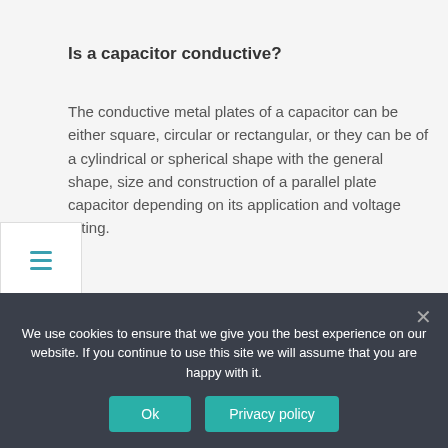Is a capacitor conductive?
The conductive metal plates of a capacitor can be either square, circular or rectangular, or they can be of a cylindrical or spherical shape with the general shape, size and construction of a parallel plate capacitor depending on its application and voltage rating.
What is a polymer capacitor?
A polymer capacitor, or more accurately a polymer electrolytic capacitor, is an electrolytic capacitor (e-cap) with a solid electrolyte of a conducting polymer.
We use cookies to ensure that we give you the best experience on our website. If you continue to use this site we will assume that you are happy with it.